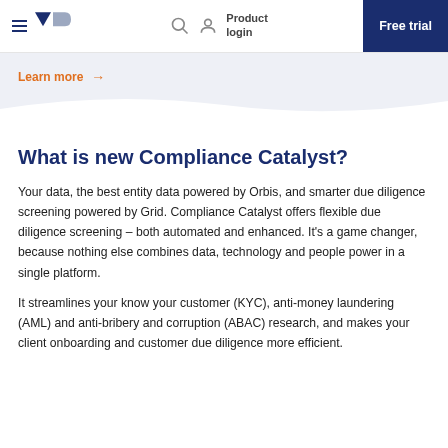Product login | Free trial
Learn more →
What is new Compliance Catalyst?
Your data, the best entity data powered by Orbis, and smarter due diligence screening powered by Grid. Compliance Catalyst offers flexible due diligence screening – both automated and enhanced. It's a game changer, because nothing else combines data, technology and people power in a single platform.
It streamlines your know your customer (KYC), anti-money laundering (AML) and anti-bribery and corruption (ABAC) research, and makes your client onboarding and customer due diligence more efficient.